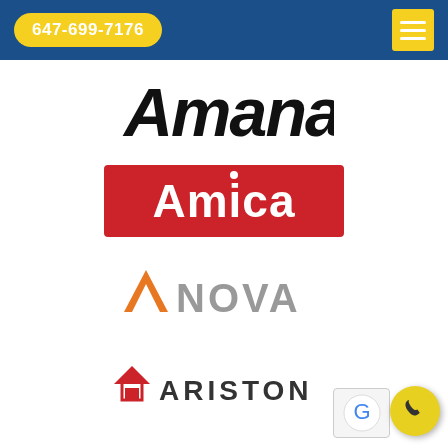647-699-7176
[Figure (logo): Amana brand logo in bold italic black text]
[Figure (logo): Amica brand logo in white text on red rectangle background]
[Figure (logo): Anova brand logo with orange A chevron and gray NOVA text]
[Figure (logo): Ariston brand logo with house/flame icon and uppercase ARISTON text]